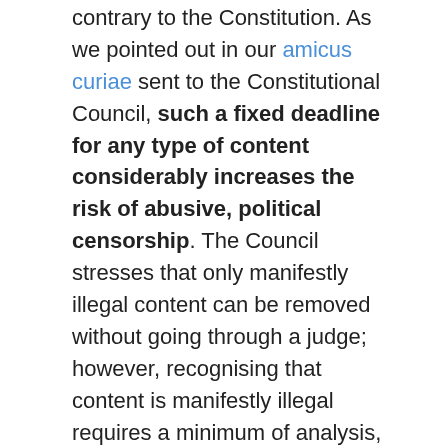contrary to the Constitution. As we pointed out in our amicus curiae sent to the Constitutional Council, such a fixed deadline for any type of content considerably increases the risk of abusive, political censorship. The Council stresses that only manifestly illegal content can be removed without going through a judge; however, recognising that content is manifestly illegal requires a minimum of analysis, which is impossible in such a short time.
Our victory is a heavy defeat for the French government. It is paying the price for an ill-considered method: while Facebook boasted